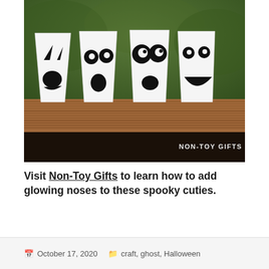[Figure (photo): Four white paper cups placed upside-down on a wooden surface, each decorated with black marker to look like ghost faces with different expressions: angry, surprised, wide-eyed, and smiling. Green foliage background. Watermark reads NON-TOY GIFTS.]
Visit Non-Toy Gifts to learn how to add glowing noses to these spooky cuties.
October 17, 2020   craft, ghost, Halloween